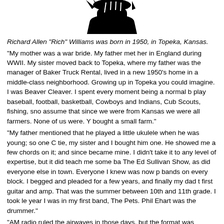[Figure (illustration): Black silhouette illustration of a person, cropped at top of page]
Richard Allen “Rich” Williams was born in 1950, in Topeka, Kansas.
“My mother was a war bride. My father met her in England during WWII. My sister moved back to Topeka, where my father was the manager of Baker Truck Rental, lived in a new 1950’s home in a middle-class neighborhood. Growing up in Topeka you could imagine. I was Beaver Cleaver. I spent every moment being a normal b play baseball, football, basketball, Cowboys and Indians, Cub Scouts, fishing, sno assume that since we were from Kansas we were all farmers. None of us were. Y bought a small farm.”
“My father mentioned that he played a little ukulele when he was young; so one C tie, my sister and I bought him one. He showed me a few chords on it; and since became mine. I didn’t take it to any level of expertise, but it did teach me some ba The Ed Sullivan Show, as did everyone else in town. Everyone I knew was now p bands on every block. I begged and pleaded for a few years, and finally my dad t first guitar and amp. That was the summer between 10th and 11th grade. I took le year I was in my first band, The Pets. Phil Ehart was the drummer.”
“AM radio ruled the airwaves in those days, but the format was infinitely more vari American rock ‘n’ roll, Frank Sinatra—whatever the hits of the time were, they wer record I bought was ‘The Twist’ by Chubby Checker. My first album was Herman’s
Rich moved to New Orleans for a while before returning to Topeka for college and forerunner to Kansas.
“As I said, my first band was The Pets, along with Phil. We played the rock hits of